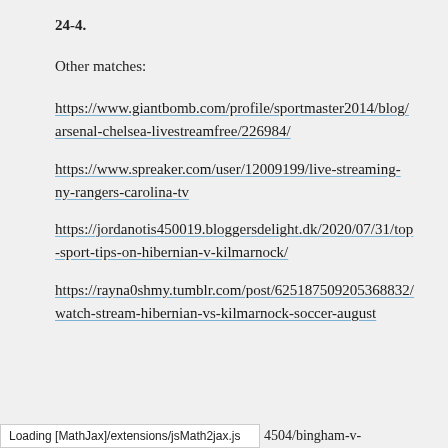24-4.
Other matches:
https://www.giantbomb.com/profile/sportmaster2014/blog/arsenal-chelsea-livestreamfree/226984/
https://www.spreaker.com/user/12009199/live-streaming-ny-rangers-carolina-tv
https://jordanotis450019.bloggersdelight.dk/2020/07/31/top-sport-tips-on-hibernian-v-kilmarnock/
https://rayna0shmy.tumblr.com/post/625187509205368832/watch-stream-hibernian-vs-kilmarnock-soccer-august
Loading [MathJax]/extensions/jsMath2jax.js   4504/bingham-v-